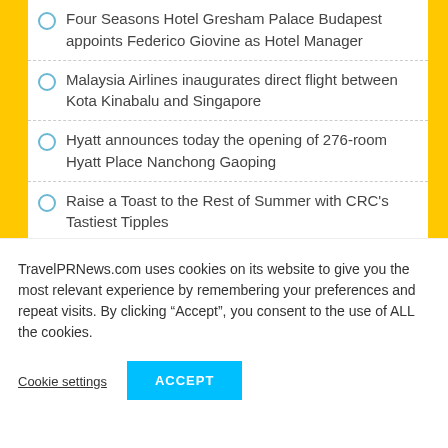Four Seasons Hotel Gresham Palace Budapest appoints Federico Giovine as Hotel Manager
Malaysia Airlines inaugurates direct flight between Kota Kinabalu and Singapore
Hyatt announces today the opening of 276-room Hyatt Place Nanchong Gaoping
Raise a Toast to the Rest of Summer with CRC's Tastiest Tipples
Finnair announces codeshare agreement with Qatar Airways
Hotel Nikko Bali Benoa Beach Welcomes New
TravelPRNews.com uses cookies on its website to give you the most relevant experience by remembering your preferences and repeat visits. By clicking “Accept”, you consent to the use of ALL the cookies.
Cookie settings
ACCEPT